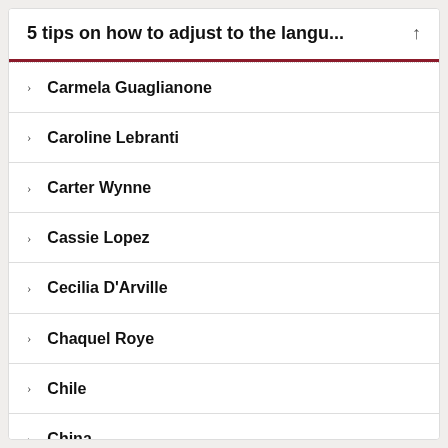5 tips on how to adjust to the langu...
Carmela Guaglianone
Caroline Lebranti
Carter Wynne
Cassie Lopez
Cecilia D'Arville
Chaquel Roye
Chile
China
Choosing a Program
Christin Teka